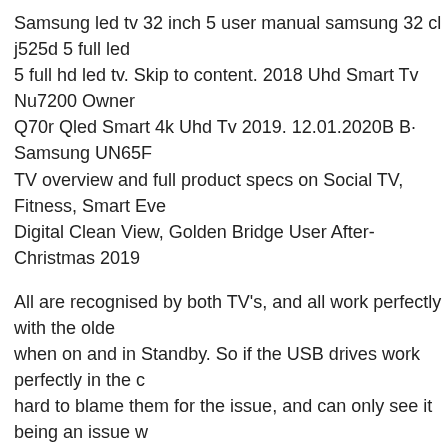Samsung led tv 32 inch 5 user manual samsung 32 cl j525d 5 full led 5 full hd led tv. Skip to content. 2018 Uhd Smart Tv Nu7200 Owner Q70r Qled Smart 4k Uhd Tv 2019. 12.01.2020B B· Samsung UN65F TV overview and full product specs on Social TV, Fitness, Smart Eve Digital Clean View, Golden Bridge User After-Christmas 2019
All are recognised by both TV's, and all work perfectly with the olde when on and in Standby. So if the USB drives work perfectly in the c hard to blame them for the issue, and can only see it being an issue w spoken to Samsung they make no mention of any USB issue. Samsu Smart TV - LED - 1080p - N5300 (2) Sold by Electronic Express. Sa The Frame 4K Ultra High Defintion Smart QLED TV (2019) (11) Sc compare compare now. $319.00. Samsung UN50NU6950-RB Refurb Smart LED TV .
All are recognised by both TV's, and all work perfectly with the olde when on and in Standby. So if the USB drives work perfectly in the c hard to blame them for the issue, and can only see it being an issue w spoken to Samsung they make no mention of any USB issue. Samsu